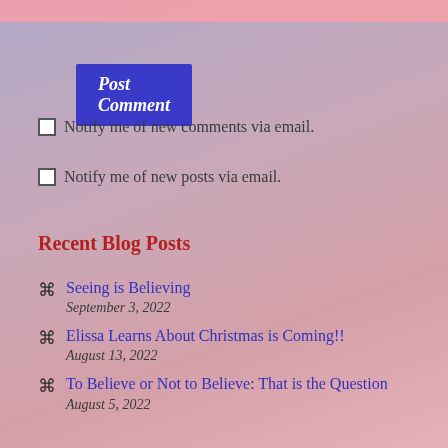Post Comment
Notify me of new comments via email.
Notify me of new posts via email.
Recent Blog Posts
Seeing is Believing
September 3, 2022
Elissa Learns About Christmas is Coming!!
August 13, 2022
To Believe or Not to Believe: That is the Question
August 5, 2022